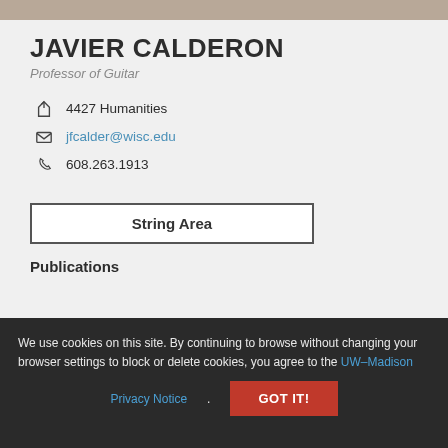[Figure (photo): Partial photo of Javier Calderon at the top of the page]
JAVIER CALDERON
Professor of Guitar
4427 Humanities
jfcalder@wisc.edu
608.263.1913
String Area
Publications
We use cookies on this site. By continuing to browse without changing your browser settings to block or delete cookies, you agree to the UW–Madison Privacy Notice.
GOT IT!